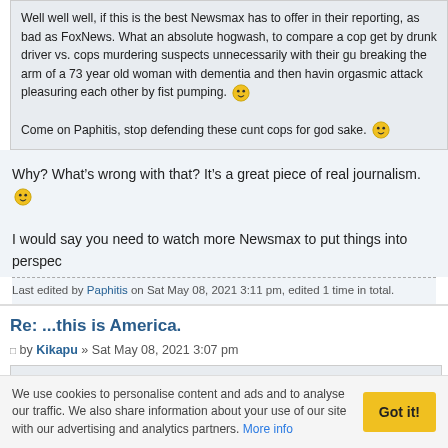Well well well, if this is the best Newsmax has to offer in their reporting, as bad as FoxNews. What an absolute hogwash, to compare a cop get by drunk driver vs. cops murdering suspects unnecessarily with their gu breaking the arm of a 73 year old woman with dementia and then havin orgasmic attack pleasuring each other by fist pumping. [emoji] Come on Paphitis, stop defending these cunt cops for god sake. [emoji]
Why? What's wrong with that? It's a great piece of real journalism. [emoji]
I would say you need to watch more Newsmax to put things into perspective
Last edited by Paphitis on Sat May 08, 2021 3:11 pm, edited 1 time in total.
Re: ...this is America.
by Kikapu » Sat May 08, 2021 3:07 pm
Paphitis wrote:
We use cookies to personalise content and ads and to analyse our traffic. We also share information about your use of our site with our advertising and analytics partners. More info